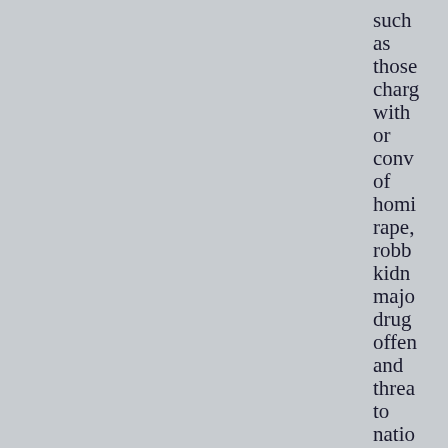such as those charged with or convicted of homicide, rape, robbery, kidnapping, major drug offenses, and threats to national security ERO